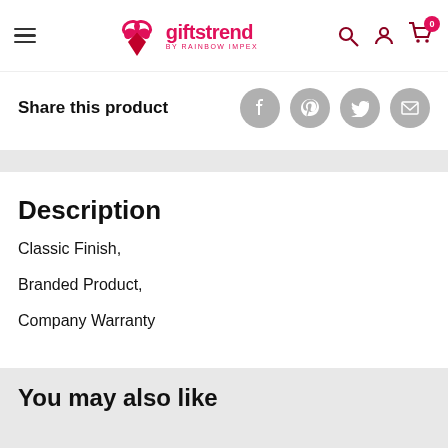[Figure (logo): Giftstrend by Rainbow Impex logo with pink flower/gift icon and brand name in pink]
Share this product
Description
Classic Finish,
Branded Product,
Company Warranty
You may also like